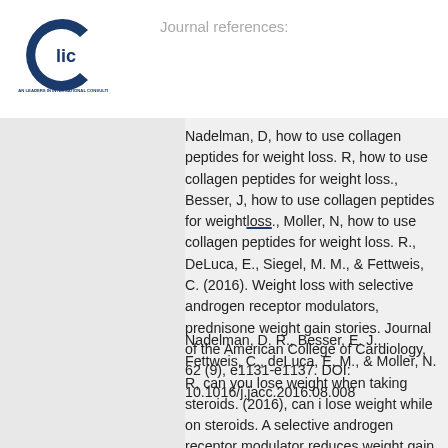Journal references:
[Figure (logo): Canadian Leaders in International Consulting Inc. logo — circular C shape in dark blue with 'lic' text, and company name below]
Nadelman, D, how to use collagen peptides for weight loss. R, how to use collagen peptides for weight loss., Besser, J, how to use collagen peptides for weight loss., Moller, N, how to use collagen peptides for weight loss. R., DeLuca, E., Siegel, M. M., & Fettweis, C. (2016). Weight loss with selective androgen receptor modulators, prednisone weight gain stories. Journal of the American College of Cardiology, 62 (9), e1131-e1137. DOI: 10.1016/j.jacc.2016.08.008
Nadelman, D. R., Besser, E. J., Fettweis, C., deLuca, E. M., & Moller, N. R, can you lose weight when taking steroids. (2016), can i lose weight while on steroids. A selective androgen receptor modulator reduces weight gain after an anorexic diet in obese rats.